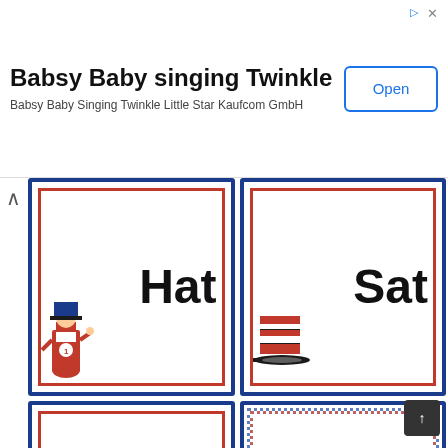[Figure (other): Advertisement banner for Babsy Baby singing Twinkle app by Kaufcom GmbH with an Open button]
[Figure (illustration): Four Dr. Seuss themed word flash cards arranged in a 2x2 grid showing the words Hat, Sat, Hot, and Pot with corresponding illustrations]
Free Printable Dr Seuss Math
[Figure (illustration): Author's Purpose educational poster with text 'Author s Purpose' and subtitle 'Why did the author write the passage?' with a heart shape at bottom]